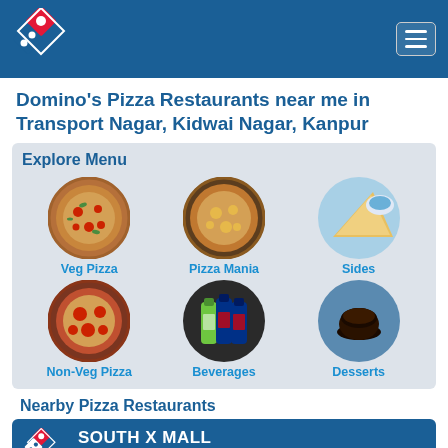[Figure (logo): Domino's Pizza logo and hamburger menu in blue header]
Domino's Pizza Restaurants near me in Transport Nagar, Kidwai Nagar, Kanpur
Explore Menu
[Figure (infographic): Explore Menu grid with 6 circular food images: Veg Pizza, Pizza Mania, Sides, Non-Veg Pizza, Beverages, Desserts]
Nearby Pizza Restaurants
SOUTH X MALL